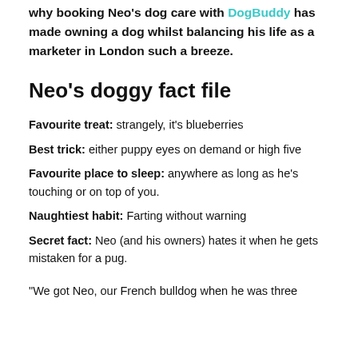why booking Neo's dog care with DogBuddy has made owning a dog whilst balancing his life as a marketer in London such a breeze.
Neo's doggy fact file
Favourite treat: strangely, it's blueberries
Best trick: either puppy eyes on demand or high five
Favourite place to sleep: anywhere as long as he's touching or on top of you.
Naughtiest habit: Farting without warning
Secret fact: Neo (and his owners) hates it when he gets mistaken for a pug.
“We got Neo, our French bulldog when he was three